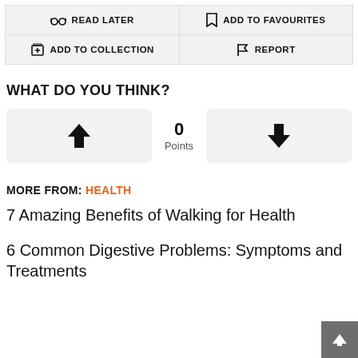[Figure (screenshot): Toolbar with READ LATER, ADD TO FAVOURITES, ADD TO COLLECTION, REPORT buttons]
WHAT DO YOU THINK?
[Figure (infographic): Vote up/down widget showing 0 Points]
MORE FROM: HEALTH
7 Amazing Benefits of Walking for Health
6 Common Digestive Problems: Symptoms and Treatments